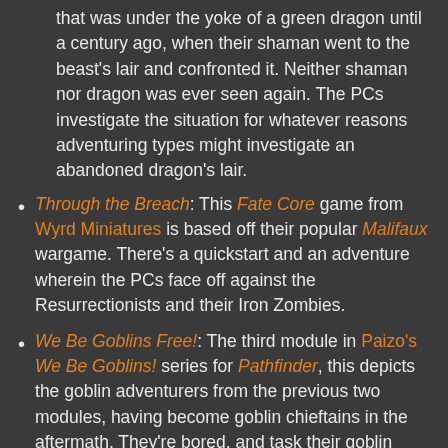that was under the yoke of a green dragon until a century ago, when their shaman went to the beast's lair and confronted it.  Neither shaman nor dragon was ever seen again.  The PCs investigate the situation for whatever reasons adventuring types might investigate an abandoned dragon's lair.
Through the Breach: This Fate Core game from Wyrd Miniatures is based off their popular Malifaux wargame.  There's a quickstart and an adventure wherein the PCs face off against the Resurrectionists and their Iron Zombies.
We Be Goblins Free!: The third module in Paizo's We Be Goblins! series for Pathfinder, this depicts the goblin adventurers from the previous two modules, having become goblin chieftains in the aftermath.  They're bored, and task their goblin villagers with finding adventures for them to complete.  Naturally, this ends poorly.
Of course pointing to the FLGS…